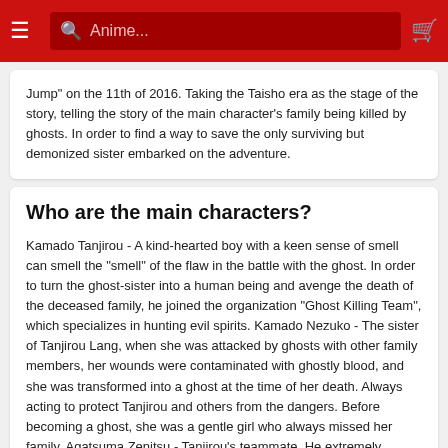Anime...
Jump" on the 11th of 2016. Taking the Taisho era as the stage of the story, telling the story of the main character's family being killed by ghosts. In order to find a way to save the only surviving but demonized sister embarked on the adventure.
Who are the main characters?
Kamado Tanjirou - A kind-hearted boy with a keen sense of smell can smell the "smell" of the flaw in the battle with the ghost. In order to turn the ghost-sister into a human being and avenge the death of the deceased family, he joined the organization "Ghost Killing Team", which specializes in hunting evil spirits. Kamado Nezuko - The sister of Tanjirou Lang, when she was attacked by ghosts with other family members, her wounds were contaminated with ghostly blood, and she was transformed into a ghost at the time of her death. Always acting to protect Tanjirou and others from the dangers. Before becoming a ghost, she was a gentle girl who always missed her family. Agatsuma Zenitsu - Tanjirou's teammate. He extremely lacking confident and often whispering to himself. With excellent hearing, he can identify the "voice" of ghosts and humans. Extremely fearful, sometimes fell asleep and provoked strong strength.
How many episodes of the anime?